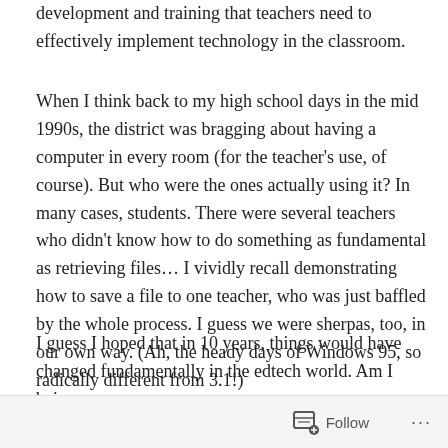development and training that teachers need to effectively implement technology in the classroom.
When I think back to my high school days in the mid 1990s, the district was bragging about having a computer in every room (for the teacher's use, of course). But who were the ones actually using it? In many cases, students. There were several teachers who didn't know how to do something as fundamental as retrieving files… I vividly recall demonstrating how to save a file to one teacher, who was just baffled by the whole process. I guess we were sherpas, too, in our own way. (Ah, the heady days of Windows 95, so radically different from 3.1!)
I guess I hoped that in 10 years, things would have changed fundamentally in the edtech world. Am I being
Follow